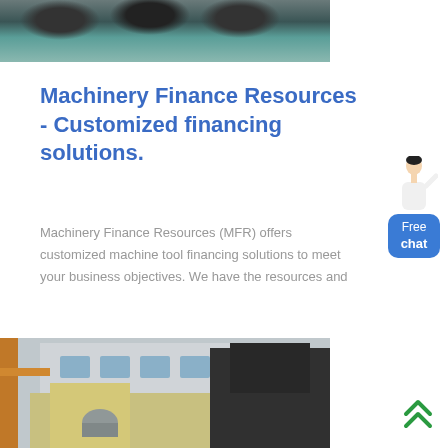[Figure (photo): Top portion of an industrial machinery facility interior, showing large machines on a green-tinted floor]
Machinery Finance Resources - Customized financing solutions.
Machinery Finance Resources (MFR) offers customized machine tool financing solutions to meet your business objectives. We have the resources and
[Figure (illustration): Customer support avatar - woman in white outfit with headset, and a blue 'Free chat' button widget]
[Figure (photo): Bottom photo of industrial/mining machinery equipment outdoors, with yellow/beige machinery parts and orange crane structure]
[Figure (other): Green double up-arrow scroll-to-top button in bottom right corner]